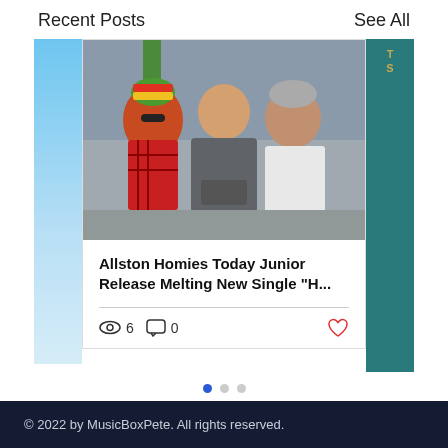Recent Posts   See All
[Figure (photo): Three people sitting together outdoors. Left person has curly red hair, sunglasses, and a green/yellow/red beanie with a red plaid shirt. Middle person wears a gray hoodie. Right person wears a white t-shirt and gray beanie.]
Allston Homies Today Junior Release Melting New Single "H...
6 views  0 comments
© 2022 by MusicBoxPete. All rights reserved.